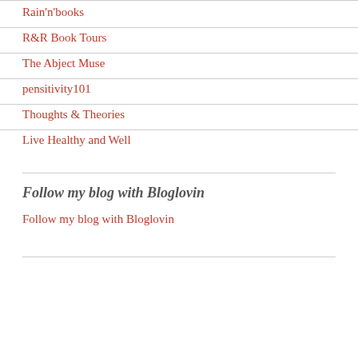Rain'n'books
R&R Book Tours
The Abject Muse
pensitivity101
Thoughts & Theories
Live Healthy and Well
Follow my blog with Bloglovin
Follow my blog with Bloglovin